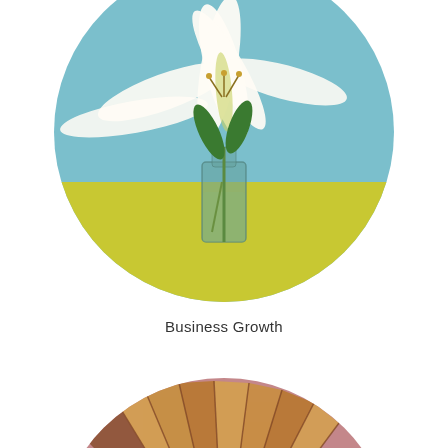[Figure (photo): A circular cropped photo of white lily flowers in a clear glass bottle/vase with water, set against a teal/light blue background with a yellow-green surface beneath the vase.]
Business Growth
[Figure (photo): A circular cropped photo showing what appears to be a partially opened book or fan-like object with wooden/golden tones against a dusty rose/mauve pink background, partially visible at the bottom of the page.]